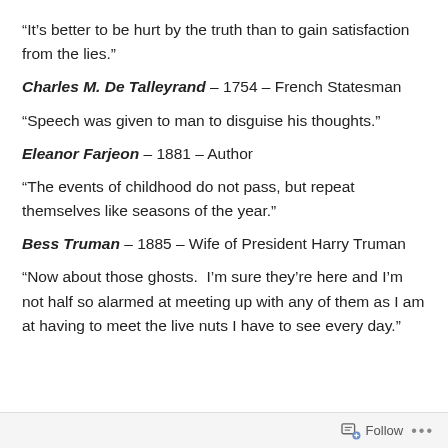“It’s better to be hurt by the truth than to gain satisfaction from the lies.”
Charles M. De Talleyrand – 1754 – French Statesman
“Speech was given to man to disguise his thoughts.”
Eleanor Farjeon – 1881 – Author
“The events of childhood do not pass, but repeat themselves like seasons of the year.”
Bess Truman – 1885 – Wife of President Harry Truman
“Now about those ghosts.  I’m sure they’re here and I’m not half so alarmed at meeting up with any of them as I am at having to meet the live nuts I have to see every day.”
Follow •••